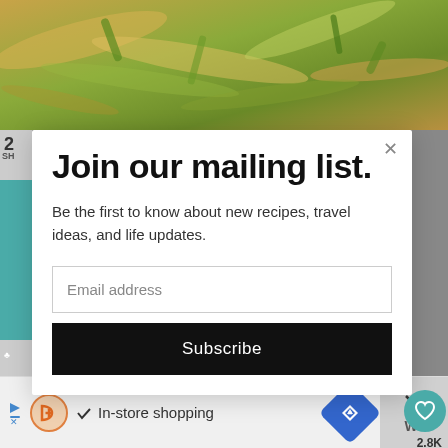[Figure (photo): Top portion of a food dish - stir fried noodles or pasta with vegetables visible at the top of the page]
Join our mailing list.
Be the first to know about new recipes, travel ideas, and life updates.
Email address
Subscribe
2.8K
WHAT'S NEXT → Grilled Chicken...
In-store shopping